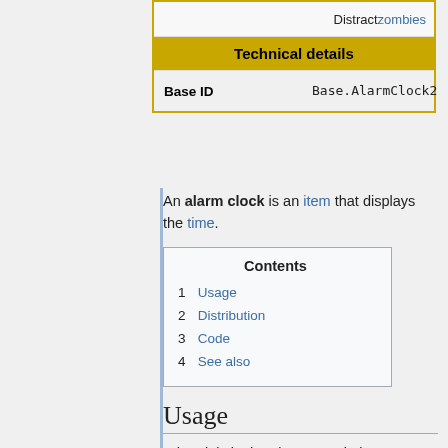|  | Distract zombies |
| Technical details |  |
| Base ID | Base.AlarmClock2 |
An alarm clock is an item that displays the time.
| Contents |
| --- |
| 1 | Usage |
| 2 | Distribution |
| 3 | Code |
| 4 | See also |
Usage
When it is in the player's main inventory, the time of day will be displayed on the HUD at the top right of the screen, the same as a digital watch and classic wrist watch, with